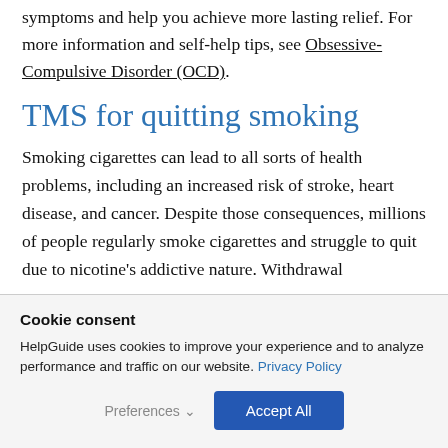symptoms and help you achieve more lasting relief. For more information and self-help tips, see Obsessive-Compulsive Disorder (OCD).
TMS for quitting smoking
Smoking cigarettes can lead to all sorts of health problems, including an increased risk of stroke, heart disease, and cancer. Despite those consequences, millions of people regularly smoke cigarettes and struggle to quit due to nicotine's addictive nature. Withdrawal
Cookie consent
HelpGuide uses cookies to improve your experience and to analyze performance and traffic on our website. Privacy Policy
Preferences  Accept All